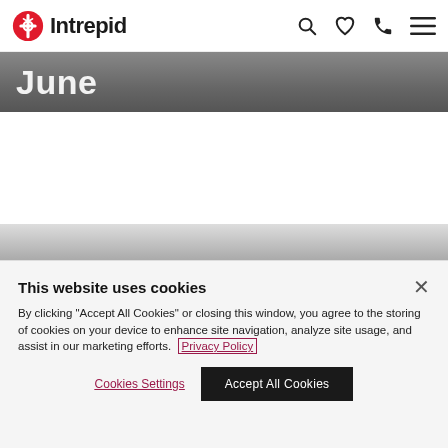Intrepid
June
July
This website uses cookies
By clicking "Accept All Cookies" or closing this window, you agree to the storing of cookies on your device to enhance site navigation, analyze site usage, and assist in our marketing efforts. Privacy Policy
Cookies Settings | Accept All Cookies